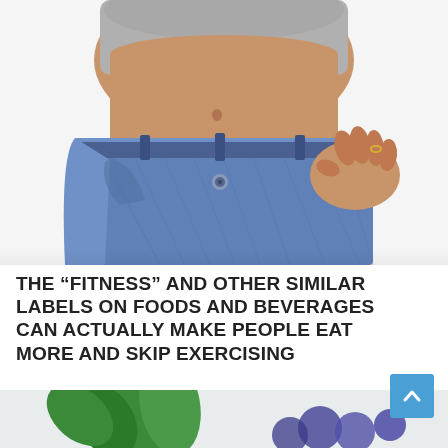[Figure (photo): Person wearing oversized jeans, pulling waistband out to show weight loss, from the waist down. White background.]
THE “FITNESS” AND OTHER SIMILAR LABELS ON FOODS AND BEVERAGES CAN ACTUALLY MAKE PEOPLE EAT MORE AND SKIP EXERCISING
[Figure (photo): Bottom portion of a photo showing green leaves and blueberries, partially cropped.]